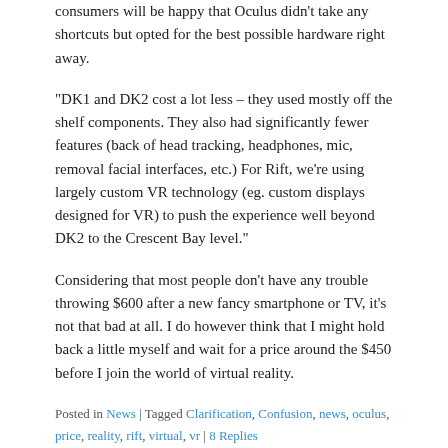consumers will be happy that Oculus didn't take any shortcuts but opted for the best possible hardware right away.
“DK1 and DK2 cost a lot less – they used mostly off the shelf components. They also had significantly fewer features (back of head tracking, headphones, mic, removal facial interfaces, etc.) For Rift, we’re using largely custom VR technology (eg. custom displays designed for VR) to push the experience well beyond DK2 to the Crescent Bay level.”
Considering that most people don’t have any trouble throwing $600 after a new fancy smartphone or TV, it’s not that bad at all. I do however think that I might hold back a little myself and wait for a price around the $450 before I join the world of virtual reality.
Posted in News | Tagged Clarification, Confusion, news, oculus, price, reality, rift, virtual, vr | 8 Replies